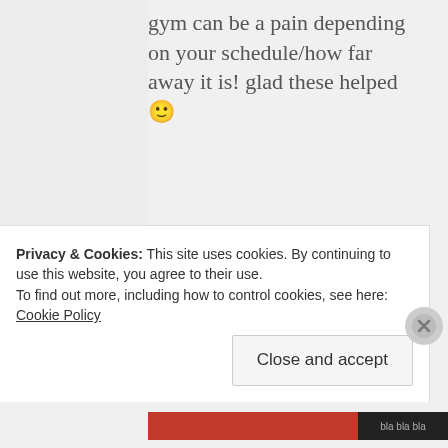gym can be a pain depending on your schedule/how far away it is! glad these helped 🙂
★ Like
APRIL 8, 2015 AT 8:07 PM | REPLY
[Figure (photo): Circular avatar photo of a person with light brown hair]
Privacy & Cookies: This site uses cookies. By continuing to use this website, you agree to their use. To find out more, including how to control cookies, see here: Cookie Policy
Close and accept